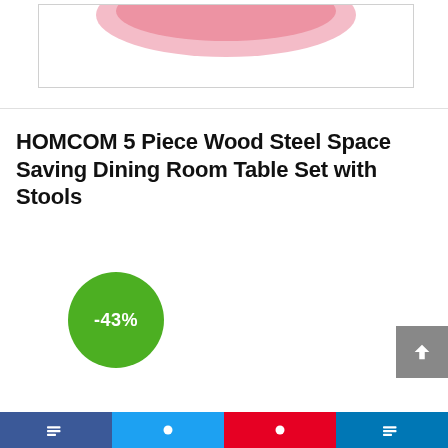[Figure (photo): Top portion of a product image showing a pink logo/graphic on white background, partially cropped]
HOMCOM 5 Piece Wood Steel Space Saving Dining Room Table Set with Stools
[Figure (infographic): Green circular discount badge showing -43%]
[Figure (other): Grey back-to-top button with upward chevron arrow]
[Figure (other): Social sharing bar at bottom with Facebook, Twitter, Pinterest, and LinkedIn buttons]